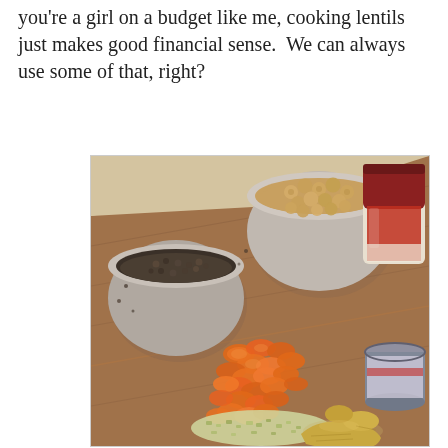you're a girl on a budget like me, cooking lentils just makes good financial sense.  We can always use some of that, right?
[Figure (photo): Overhead view of ingredients on a wooden cutting board: a bowl of lentils (left), a bowl of chickpeas (center-top), a jar of red sauce (right-top), chopped carrots (center), minced green onion/celery (bottom-center), a piece of fresh ginger root (bottom-right), and a can (right-center).]